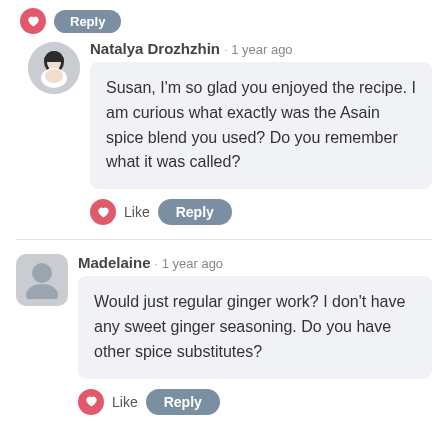Natalya Drozhzhin · 1 year ago
Susan, I'm so glad you enjoyed the recipe. I am curious what exactly was the Asain spice blend you used? Do you remember what it was called?
Like   Reply
Madelaine · 1 year ago
Would just regular ginger work? I don't have any sweet ginger seasoning. Do you have other spice substitutes?
Like   Reply